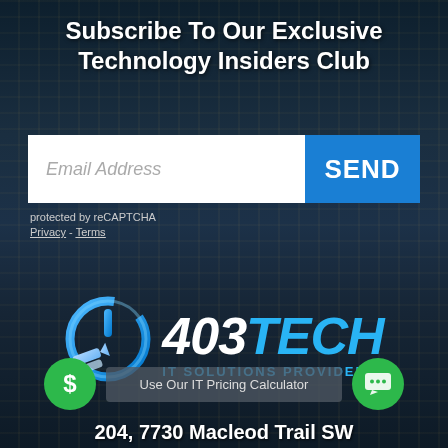Subscribe To Our Exclusive Technology Insiders Club
Email Address
SEND
protected by reCAPTCHA
Privacy - Terms
[Figure (logo): 403TECH IT Solutions Provider logo with blue power button icon and stylized text]
Use Our IT Pricing Calculator
204, 7730 Macleod Trail SW